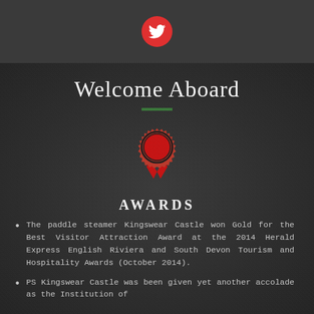[Twitter bird icon]
Welcome Aboard
[Figure (illustration): Red award ribbon/medal icon with serrated circle badge and ribbon tails]
AWARDS
The paddle steamer Kingswear Castle won Gold for the Best Visitor Attraction Award at the 2014 Herald Express English Riviera and South Devon Tourism and Hospitality Awards (October 2014).
PS Kingswear Castle was been given yet another accolade as the Institution of